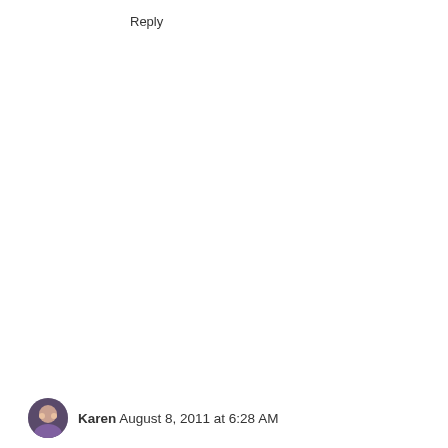Reply
Karen August 8, 2011 at 6:28 AM